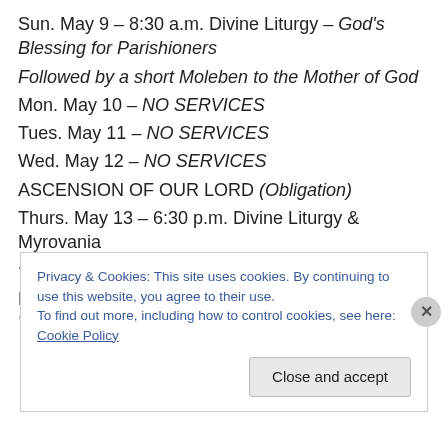Sun. May 9 – 8:30 a.m. Divine Liturgy – God's Blessing for Parishioners
Followed by a short Moleben to the Mother of God
Mon. May 10 – NO SERVICES
Tues. May 11 – NO SERVICES
Wed. May 12 – NO SERVICES
ASCENSION OF OUR LORD (Obligation)
Thurs. May 13 – 6:30 p.m. Divine Liturgy & Myrovania
†Sophie Kreitzer – Antonishak Family
Fri. May 7 – 9:00 a.m. †Walter & †Anna Hrynkiw – Walter S. Hrvnkiw
Privacy & Cookies: This site uses cookies. By continuing to use this website, you agree to their use. To find out more, including how to control cookies, see here: Cookie Policy